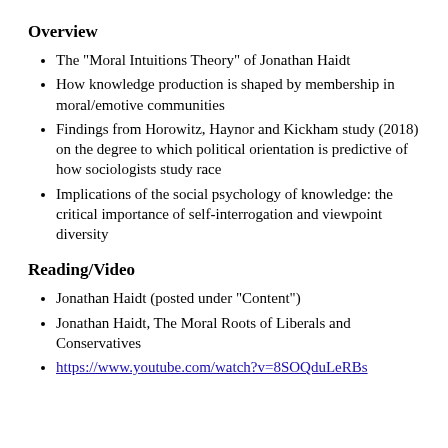Overview
The "Moral Intuitions Theory" of Jonathan Haidt
How knowledge production is shaped by membership in moral/emotive communities
Findings from Horowitz, Haynor and Kickham study (2018) on the degree to which political orientation is predictive of how sociologists study race
Implications of the social psychology of knowledge: the critical importance of self-interrogation and viewpoint diversity
Reading/Video
Jonathan Haidt (posted under "Content")
Jonathan Haidt, The Moral Roots of Liberals and Conservatives
https://www.youtube.com/watch?v=8SOQduLeRBs